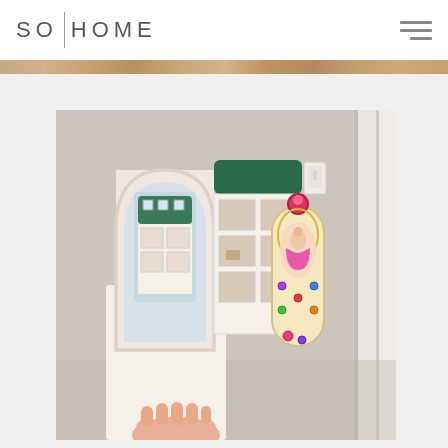SO|HOME
[Figure (photo): Interior room photo showing a white vanity mirror and a Disney princess wand/musical toy, with a dollhouse visible in the background. The room has beige/grey walls with a white door frame and light switch visible.]